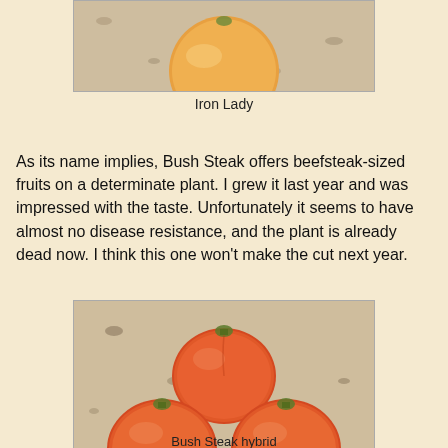[Figure (photo): Close-up photo of an orange/yellow tomato (Iron Lady) on a granite countertop, partially cropped at top]
Iron Lady
As its name implies, Bush Steak offers beefsteak-sized fruits on a determinate plant. I grew it last year and was impressed with the taste. Unfortunately it seems to have almost no disease resistance, and the plant is already dead now. I think this one won't make the cut next year.
[Figure (photo): Photo of three large orange-red beefsteak tomatoes arranged in a triangle on a granite countertop]
Bush Steak hybrid